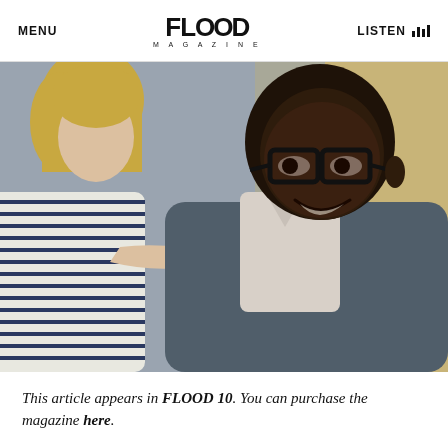MENU | FLOOD MAGAZINE | LISTEN
[Figure (photo): Two people in a scene: a blonde woman in a striped shirt reaching toward a man wearing black-framed glasses and a grey vest, who is smiling. Still from a TV show.]
This article appears in FLOOD 10. You can purchase the magazine here.